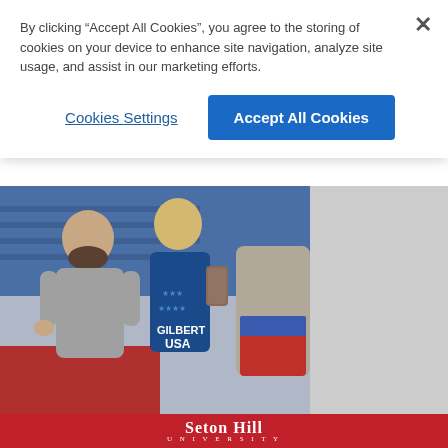By clicking "Accept All Cookies", you agree to the storing of cookies on your device to enhance site navigation, analyze site usage, and assist in our marketing efforts.
Cookies Settings
Accept All Cookies
[Figure (photo): A wrestling coach (man with beard, gray t-shirt) speaking with a wrestler wearing a blue USA singlet with 'GILBERT' printed on the back, at a wrestling event.]
High school notebook: Norwin wrestling coach
Seton Hill UNIVERSITY